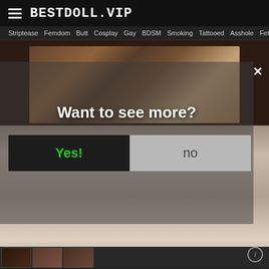BESTDOLL.VIP
Striptease  Femdom  Butt  Cosplay  Gay  BDSM  Smoking  Tattooed  Asshole  Fetish
[Figure (screenshot): Adult website screenshot showing video content with age-verification modal overlay asking 'Want to see more?' with Yes! and no buttons]
Want to see more?
Yes!
no